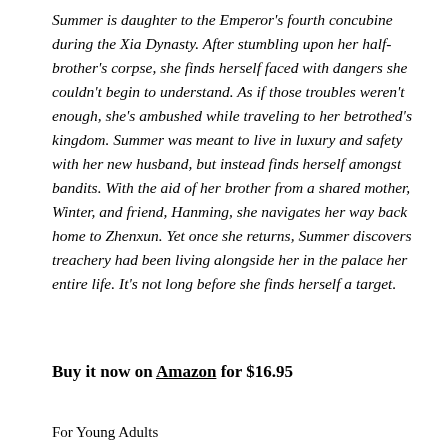Summer is daughter to the Emperor's fourth concubine during the Xia Dynasty. After stumbling upon her half-brother's corpse, she finds herself faced with dangers she couldn't begin to understand. As if those troubles weren't enough, she's ambushed while traveling to her betrothed's kingdom. Summer was meant to live in luxury and safety with her new husband, but instead finds herself amongst bandits. With the aid of her brother from a shared mother, Winter, and friend, Hanming, she navigates her way back home to Zhenxun. Yet once she returns, Summer discovers treachery had been living alongside her in the palace her entire life. It's not long before she finds herself a target.
Buy it now on Amazon for $16.95
For Young Adults